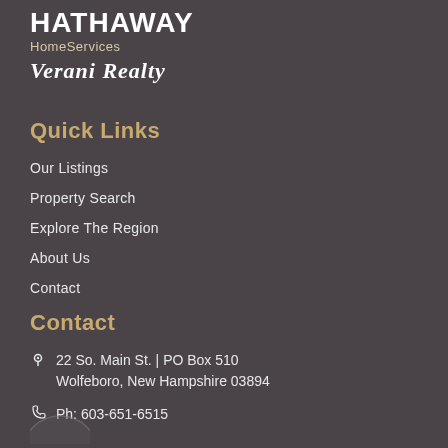HATHAWAY HomeServices Verani Realty
Quick Links
Our Listings
Property Search
Explore The Region
About Us
Contact
Contact
22 So. Main St. | PO Box 510 Wolfeboro, New Hampshire 03894
Ph: 603-651-6515
[Figure (illustration): Circular icon/button at bottom left, partially visible]